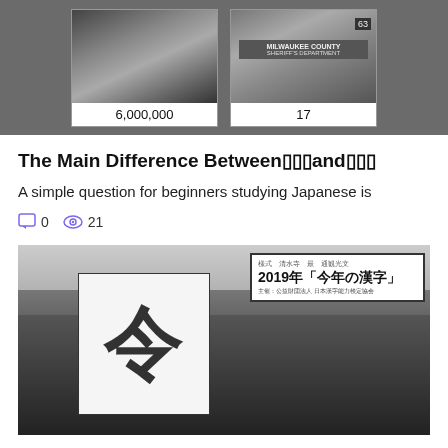[Figure (photo): Two black and white portrait/mugshot style photos side by side. Left shows a man in a suit, captioned 6,000,000. Right shows a Milwaukee County Sheriff's Department sign, captioned 17.]
The Main Difference Between□□□and□□□
A simple question for beginners studying Japanese is
0  21
[Figure (photo): Black and white photo of a person writing a large kanji character on a board at a ceremony. A sign reads 2019年「今年の漢字」and 主催：公益財団法人 日本漢字能力検定協会. Mountains and cityscape visible in background.]